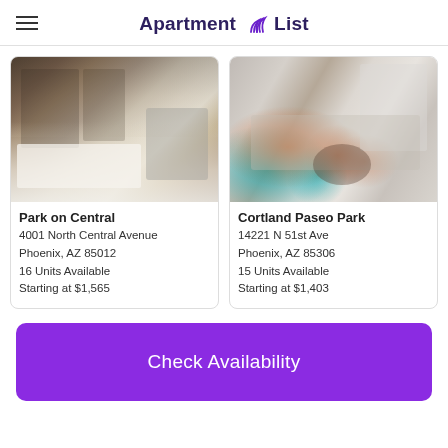Apartment List
[Figure (photo): Interior photo of a modern apartment kitchen with dark wood cabinets, stainless steel appliances, and a white kitchen island with bar stools]
Park on Central
4001 North Central Avenue
Phoenix, AZ 85012
16 Units Available
Starting at $1,565
[Figure (photo): Interior photo of a modern apartment living room with a gray sectional sofa, colorful orange and teal pillows, and a dark wood coffee table]
Cortland Paseo Park
14221 N 51st Ave
Phoenix, AZ 85306
15 Units Available
Starting at $1,403
Check Availability